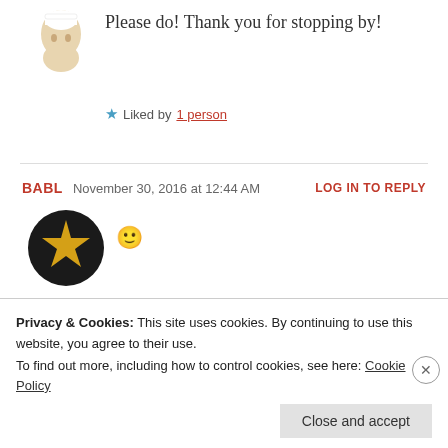Please do! Thank you for stopping by!
★ Liked by 1 person
BABL  November 30, 2016 at 12:44 AM  LOG IN TO REPLY
[Figure (illustration): Dark circular avatar with a gold star in the center, and a yellow smiley face emoji to the right]
★ Liked by 2 people
TALI  October 20, 2016 at 12:28 PM  LOG IN TO REPLY
Privacy & Cookies: This site uses cookies. By continuing to use this website, you agree to their use.
To find out more, including how to control cookies, see here: Cookie Policy
Close and accept